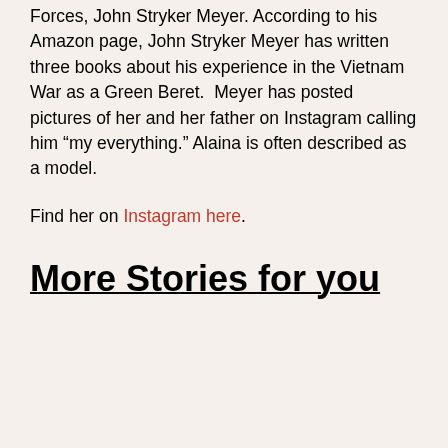Forces, John Stryker Meyer. According to his Amazon page, John Stryker Meyer has written three books about his experience in the Vietnam War as a Green Beret.  Meyer has posted pictures of her and her father on Instagram calling him “my everything.” Alaina is often described as a model.
Find her on Instagram here.
More Stories for you